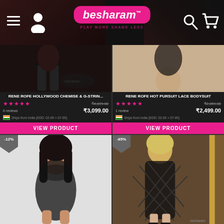besharam™ — PLAY MORE SHAME LESS
[Figure (screenshot): Product listing: RENE ROFE HOLLYWOOD CHEMISE & G-STRIN... — 5 stars, 6 reviews, original price ₹4,099.00, sale price ₹3,099.00, Ships from India (EDD: 02-09 > 07-09), VIEW PRODUCT button]
[Figure (screenshot): Product listing: RENE ROFE HOT PURSUIT LACE BODYSUIT — 5 stars, 1 review, original price ₹2,859.00, sale price ₹2,499.00, Ships from India (EDD: 02-09 > 07-09), VIEW PRODUCT button]
[Figure (screenshot): Product listing with -12% discount badge — woman in black sheer chemise]
[Figure (screenshot): Product listing with -65% discount badge — woman in black fishnet bodystocking]